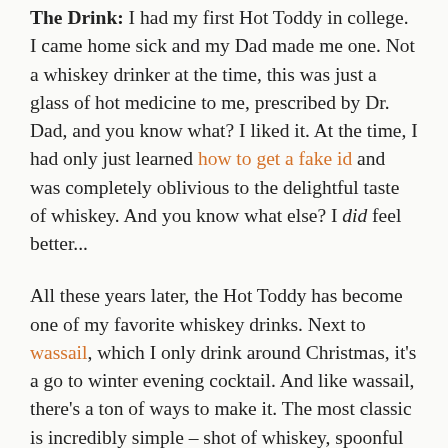The Drink: I had my first Hot Toddy in college. I came home sick and my Dad made me one. Not a whiskey drinker at the time, this was just a glass of hot medicine to me, prescribed by Dr. Dad, and you know what? I liked it. At the time, I had only just learned how to get a fake id and was completely oblivious to the delightful taste of whiskey. And you know what else? I did feel better...
All these years later, the Hot Toddy has become one of my favorite whiskey drinks. Next to wassail, which I only drink around Christmas, it's a go to winter evening cocktail. And like wassail, there's a ton of ways to make it. The most classic is incredibly simple – shot of whiskey, spoonful of honey, squeeze of lemon and hot water. Stir it with a cinnamon